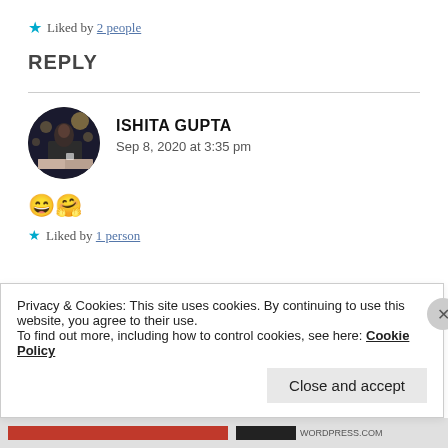Liked by 2 people
REPLY
[Figure (photo): Circular avatar photo of a person at a desk with a book and coffee, dark bokeh background]
ISHITA GUPTA
Sep 8, 2020 at 3:35 pm
😄🤗
Liked by 1 person
Privacy & Cookies: This site uses cookies. By continuing to use this website, you agree to their use.
To find out more, including how to control cookies, see here: Cookie Policy
Close and accept